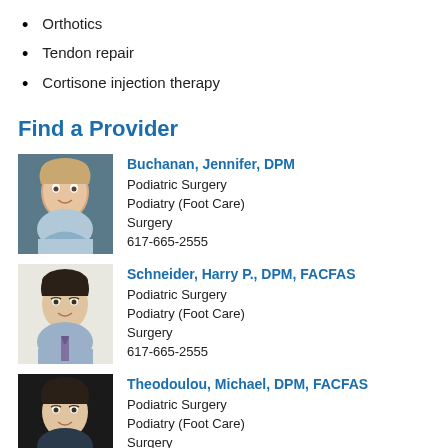Orthotics
Tendon repair
Cortisone injection therapy
Find a Provider
Buchanan, Jennifer, DPM
Podiatric Surgery
Podiatry (Foot Care)
Surgery
617-665-2555
Schneider, Harry P., DPM, FACFAS
Podiatric Surgery
Podiatry (Foot Care)
Surgery
617-665-2555
Theodoulou, Michael, DPM, FACFAS
Podiatric Surgery
Podiatry (Foot Care)
Surgery